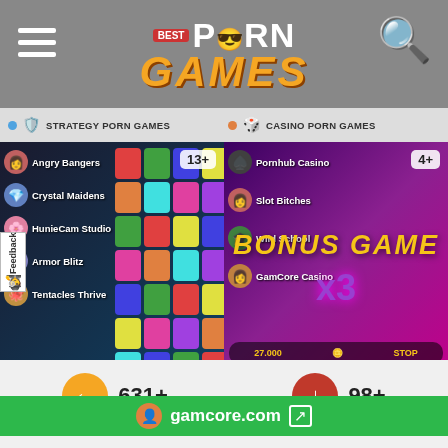Best Porn Games
STRATEGY PORN GAMES
CASINO PORN GAMES
[Figure (screenshot): Strategy porn games panel showing Angry Bangers, Crystal Maidens, HunieCam Studio, Armor Blitz, Tentacles Thrive with 13+ rating badge]
[Figure (screenshot): Casino porn games panel showing Pornhub Casino, Slot Bitches, Wild School, GamCore Casino with BONUS GAME x3 text and 4+ rating badge]
PORN GAMES FORUMS
CARD BATTLE PORN GAMES
gamcore.com
631+
Best Porn Games
98+
Free Porn Games